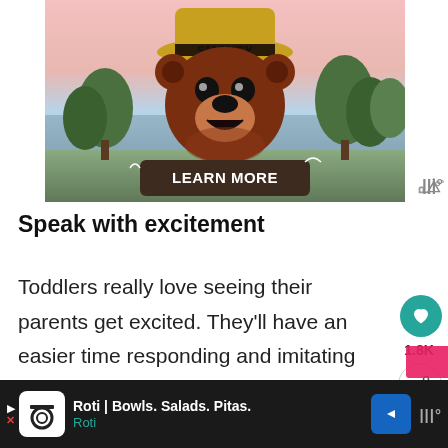[Figure (illustration): Smokey Bear character with yellow ranger hat labeled SMOKEY, cartoon bear face, with a forest and lake background. A dark brown button with white bold text 'LEARN MORE' is displayed at the bottom center of the image.]
Speak with excitement
Toddlers really love seeing their parents get excited. They'll have an easier time responding and imitating when you're showing lots of excitement in your
[Figure (advertisement): Bottom banner ad for Roti restaurant. Shows 'Roti | Bowls. Salads. Pitas.' with blue diamond arrow logo. Roti subtext in teal. W° logo on the right side.]